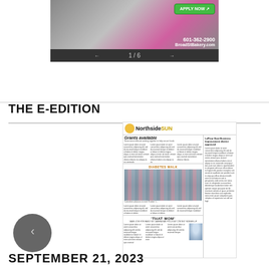[Figure (photo): Advertisement banner for Broad St Bakery showing people, Apply Now button, phone number 601-362-2900, and website BroadStBakery.com with navigation showing 1/6]
THE E-EDITION
[Figure (screenshot): Thumbnail of Northside SUN newspaper front page featuring headlines: Grants available, LeFleur East Business Improvement district approved, Diabetes Walk photo, 'That Mom' article]
SEPTEMBER 21, 2023